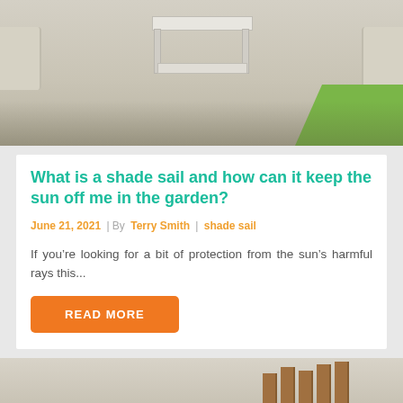[Figure (photo): Outdoor patio scene with white coffee table and sofas, grass visible in corner]
What is a shade sail and how can it keep the sun off me in the garden?
June 21, 2021 | By Terry Smith | shade sail
If you’re looking for a bit of protection from the sun’s harmful rays this…
READ MORE
[Figure (photo): Partial view of outdoor wooden furniture, bottom of page]